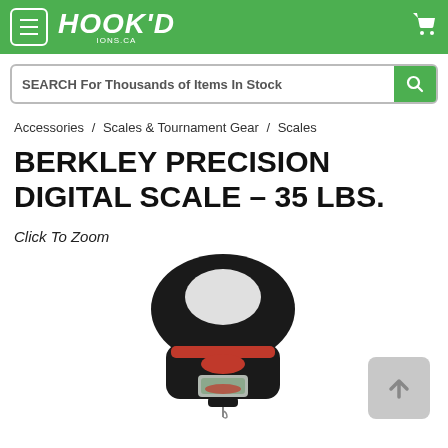HOOK'D IONS.CA
SEARCH For Thousands of Items In Stock
Accessories / Scales & Tournament Gear / Scales
BERKLEY PRECISION DIGITAL SCALE – 35 LBS.
Click To Zoom
[Figure (photo): Berkley Precision Digital Scale product photo showing a black and red handheld digital fish scale with LCD display and hook at bottom]